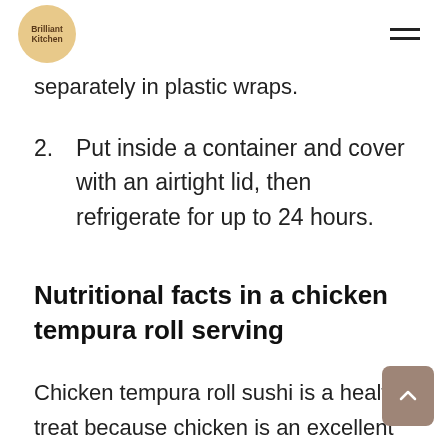Brilliant Kitchen
separately in plastic wraps.
2. Put inside a container and cover with an airtight lid, then refrigerate for up to 24 hours.
Nutritional facts in a chicken tempura roll serving
Chicken tempura roll sushi is a healthy treat because chicken is an excellent source of protein.